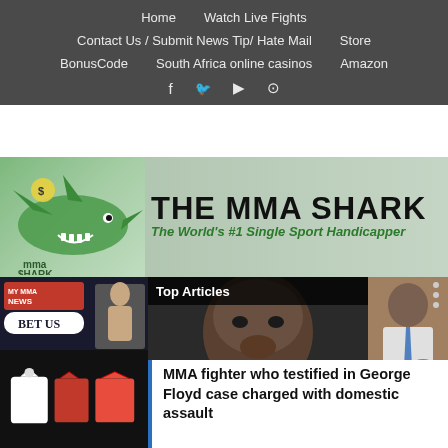Home | Watch Live Fights | Contact Us / Submit News Tip/ Hate Mail | Store | BonusCode | South Africa online casinos | Amazon
[Figure (logo): The MMA Shark logo banner with shark illustration and text 'THE MMA SHARK - The World's #1 Single Sport Handicapper']
[Figure (photo): MMA news advertisement with BetUS logo and fighter]
[Figure (photo): Video player showing Top Articles with face of George Floyd and MMA fighter on right side, with play/pause and mute controls]
MMA fighter who testified in George Floyd case charged with domestic assault
[Figure (photo): Clothing merchandise advertisement showing hoodie and shirts]